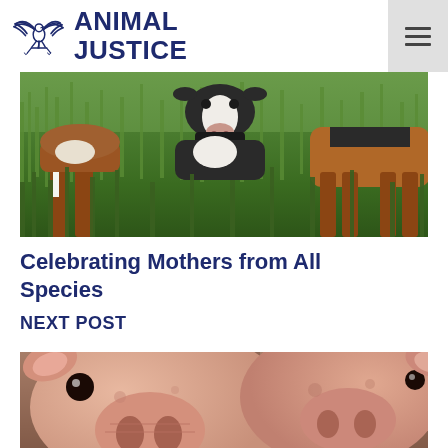ANIMAL JUSTICE
[Figure (photo): Close-up photo of cows grazing in green grass, showing their legs and lower bodies from a low angle. Multiple cows visible including brown/white and black/white colored cattle.]
Celebrating Mothers from All Species
NEXT POST
[Figure (photo): Close-up photo of two pigs facing the camera, showing their snouts and faces in detail, with a blurred barn background.]